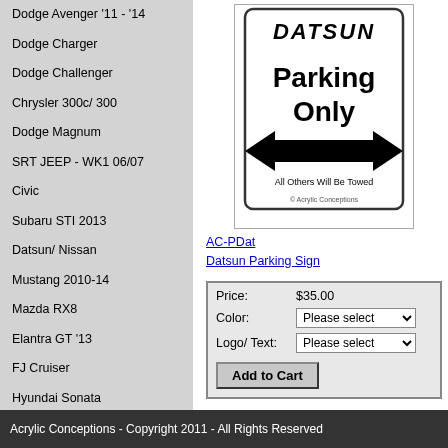Dodge Avenger '11 - '14
Dodge Charger
Dodge Challenger
Chrysler 300c/ 300
Dodge Magnum
SRT JEEP - WK1 06/07
Civic
Subaru STI 2013
Datsun/ Nissan
Mustang 2010-14
Mazda RX8
Elantra GT '13
FJ Cruiser
Hyundai Sonata
[Figure (illustration): Datsun Parking Sign product image showing a parking sign with Datsun logo, 'Parking Only' text, double-headed arrow, and 'All Others Will Be Towed' text. Copyright Acrylic Conceptions.]
AC-PDat
Datsun Parking Sign
| Field | Value |
| --- | --- |
| Price: | $35.00 |
| Color: | Please select |
| Logo/ Text: | Please select |
Add to Cart
Acrylic Conceptions - Copyright 2011 - All Rights Reserved